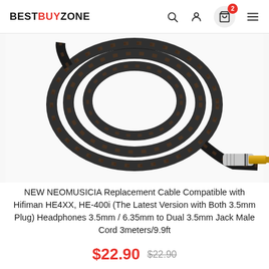BESTBUYZONE
[Figure (photo): A coiled braided headphone replacement cable in dark brown/black with a gold and silver 3.5mm/6.35mm audio jack plug, on a white background.]
NEW NEOMUSICIA Replacement Cable Compatible with Hifiman HE4XX, HE-400i (The Latest Version with Both 3.5mm Plug) Headphones 3.5mm / 6.35mm to Dual 3.5mm Jack Male Cord 3meters/9.9ft
$22.90  $22.90